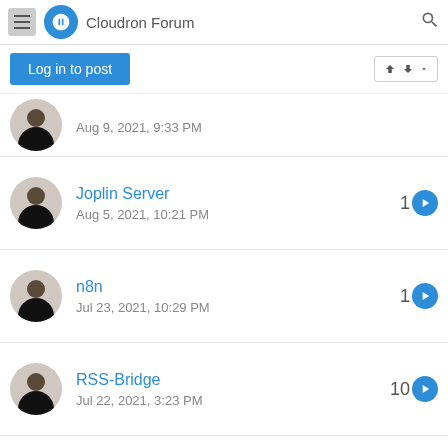Cloudron Forum
Log in to post
Aug 9, 2021, 9:33 PM
Joplin Server
Aug 5, 2021, 10:21 PM
1
n8n
Jul 23, 2021, 10:29 PM
1
RSS-Bridge
Jul 22, 2021, 3:23 PM
10
Cloudron 6.3 released
Jul 12, 2021, 8:20 PM
3
Docker base image - 3.0
18